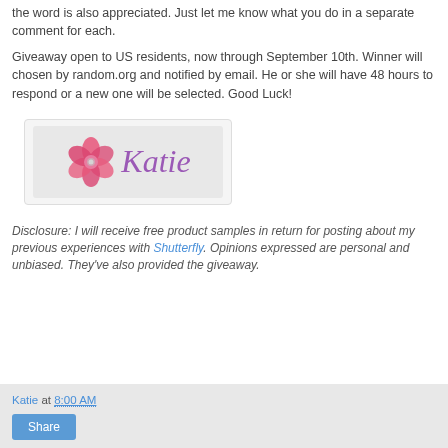the word is also appreciated. Just let me know what you do in a separate comment for each.
Giveaway open to US residents, now through September 10th. Winner will chosen by random.org and notified by email. He or she will have 48 hours to respond or a new one will be selected. Good Luck!
[Figure (illustration): Signature image showing a pink flower and the name Katie in purple cursive script on a light gray background]
Disclosure: I will receive free product samples in return for posting about my previous experiences with Shutterfly. Opinions expressed are personal and unbiased. They've also provided the giveaway.
Katie at 8:00 AM
Share